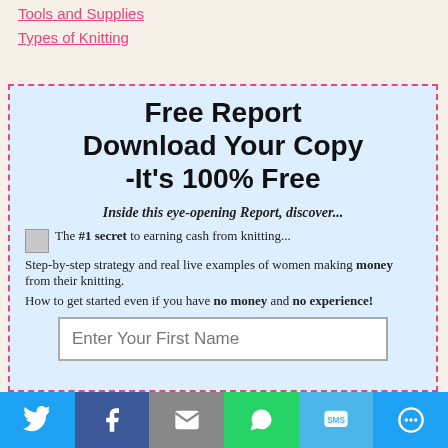Tools and Supplies
Types of Knitting
Free Report Download Your Copy -It's 100% Free
Inside this eye-opening Report, discover...
The #1 secret to earning cash from knitting...
Step-by-step strategy and real live examples of women making money from their knitting.
How to get started even if you have no money and no experience!
[Figure (screenshot): Email signup form with fields for First Name and Best Email Address]
Social share bar: Twitter, Facebook, Email, WhatsApp, SMS, More